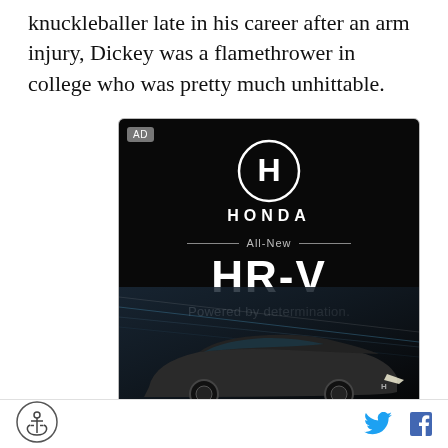knuckleballer late in his career after an arm injury, Dickey was a flamethrower in college who was pretty much unhittable.
[Figure (illustration): Honda HR-V advertisement on black background. Shows Honda logo (H in a circle), 'HONDA' text, 'All-New' with decorative lines, 'HR-V' in large bold letters, 'Powered by determination.' tagline, and a dark gray Honda HR-V SUV at the bottom with dramatic light streaks in the background. AD label in top left corner.]
[Figure (logo): Anchor icon logo in circular badge at bottom left]